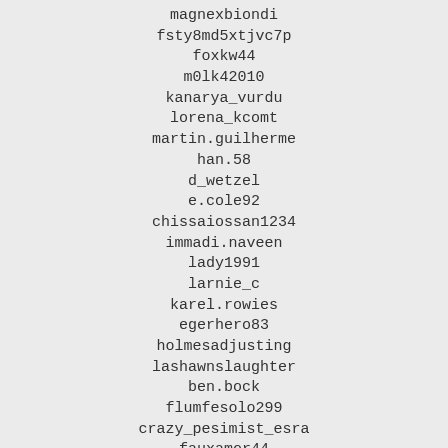magnexbiondi
fsty8md5xtjvc7p
foxkw44
m0lk42010
kanarya_vurdu
lorena_kcomt
martin.guilherme
han.58
d_wetzel
e.cole92
chissaiossan1234
immadi.naveen
lady1991
larnie_c
karel.rowies
egerhero83
holmesadjusting
lashawnslaughter
ben.bock
flumfesolo299
crazy_pesimist_esra
fauxamor44
doro.maruszka
kirilatos17